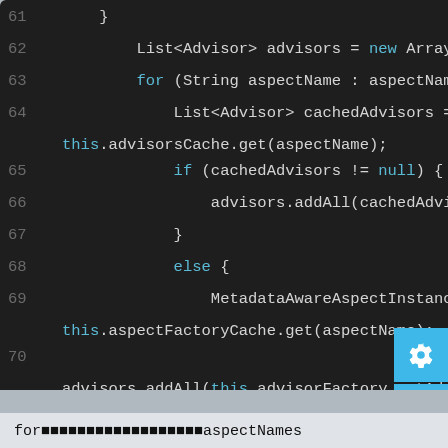[Figure (screenshot): Dark-themed code editor showing Java code lines 61-74 with syntax highlighting. Keywords like for, if, else, return, new, null, this are highlighted in cyan/blue. A gear icon, list icon, and up-arrow icon appear as buttons on the right side.]
for文でaspectnamesを繰り返し処理するaspectNames